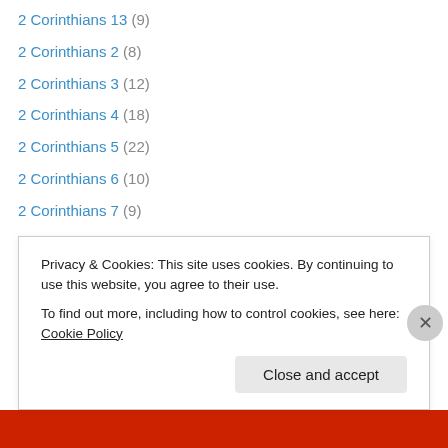2 Corinthians 13 (9)
2 Corinthians 2 (8)
2 Corinthians 3 (12)
2 Corinthians 4 (18)
2 Corinthians 5 (22)
2 Corinthians 6 (10)
2 Corinthians 7 (9)
2 Corinthians 8 (12)
2 Corinthians 9 (9)
2 John (13)
2 Kings 1 (6)
2 Kings 10 (8)
2 Kings 11 (6)
Privacy & Cookies: This site uses cookies. By continuing to use this website, you agree to their use. To find out more, including how to control cookies, see here: Cookie Policy